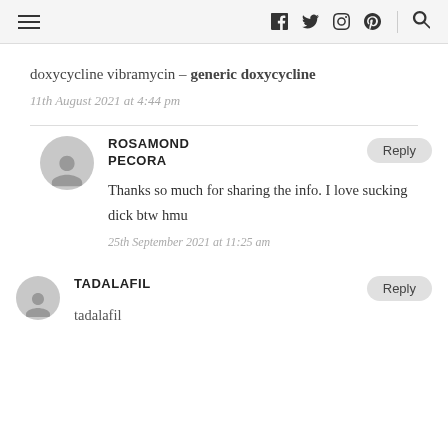≡  f  twitter  instagram  pinterest  🔍
doxycycline vibramycin – generic doxycycline
11th August 2021 at 4:44 pm
ROSAMOND PECORA
Thanks so much for sharing the info. I love sucking dick btw hmu
25th September 2021 at 11:25 am
TADALAFIL
tadalafil